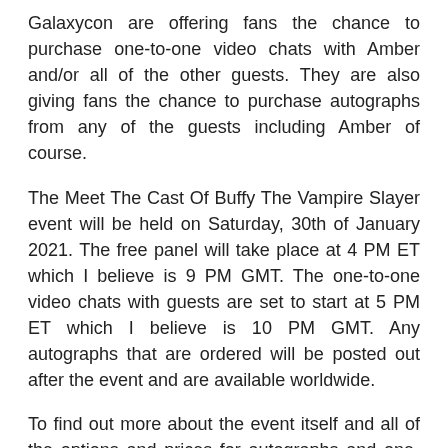Galaxycon are offering fans the chance to purchase one-to-one video chats with Amber and/or all of the other guests. They are also giving fans the chance to purchase autographs from any of the guests including Amber of course.
The Meet The Cast Of Buffy The Vampire Slayer event will be held on Saturday, 30th of January 2021. The free panel will take place at 4 PM ET which I believe is 9 PM GMT. The one-to-one video chats with guests are set to start at 5 PM ET which I believe is 10 PM GMT. Any autographs that are ordered will be posted out after the event and are available worldwide.
To find out more about the event itself and all of the options and prices for autographs and one-to-one video chats click the link below:
https://galaxycon.com/blogs/january-2021/jan-30-buffy